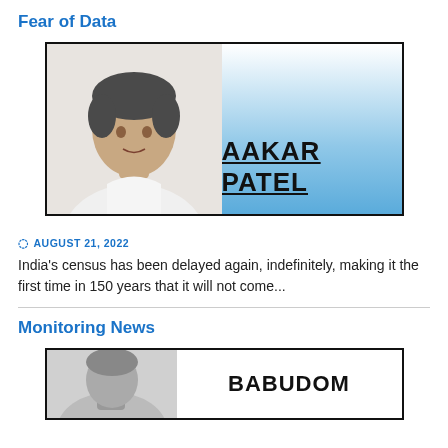Fear of Data
[Figure (photo): Article header image with photo of Aakar Patel (man in white shirt) on left and blue gradient banner reading 'AAKAR PATEL' on right, inside a black-bordered rectangle.]
AUGUST 21, 2022
India's census has been delayed again, indefinitely, making it the first time in 150 years that it will not come...
Monitoring News
[Figure (photo): Article header image showing a black and white photo of a person on the left and partial text 'BABUDOM' on the right, inside a black-bordered rectangle.]